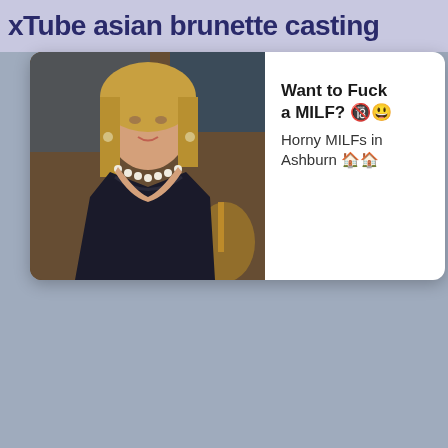xTube asian brunette casting
[Figure (screenshot): Online advertisement popup showing a woman wearing a pearl necklace and dark top, with text 'Want to Fuck a MILF? 🔞😃 Horny MILFs in Ashburn 🏠🏠' and a close button (X) in the top right corner of the popup.]